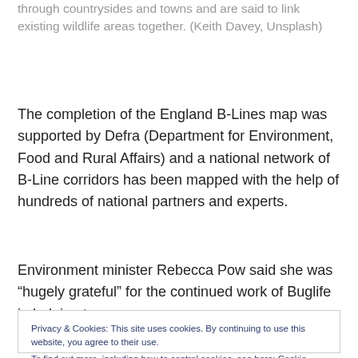through countrysides and towns and are said to link existing wildlife areas together. (Keith Davey, Unsplash)
The completion of the England B-Lines map was supported by Defra (Department for Environment, Food and Rural Affairs) and a national network of B-Line corridors has been mapped with the help of hundreds of national partners and experts.
Environment minister Rebecca Pow said she was “hugely grateful” for the continued work of Buglife in helping to
Privacy & Cookies: This site uses cookies. By continuing to use this website, you agree to their use.
To find out more, including how to control cookies, see here: Cookie Policy